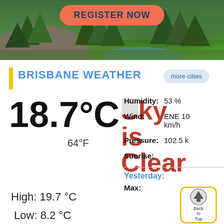[Figure (photo): Banner with forest/nature background and orange Register Now button]
BRISBANE WEATHER
more cities
18.7°C
64°F
Sky is Clear
High: 19.7 °C
Low: 8.2 °C
Humidity: 53 %
Wind: ENE 10 km/h
Pressure: 102.5 k
Sunrise:
Yesterday:
Max:
[Figure (illustration): Back to Top button with arrow icon, yellow border]
[Figure (illustration): Home button, red rounded square with house icon]